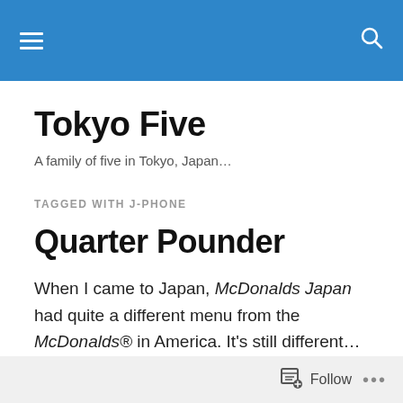Tokyo Five — navigation header with hamburger menu and search icon
Tokyo Five
A family of five in Tokyo, Japan…
TAGGED WITH J-PHONE
Quarter Pounder
When I came to Japan, McDonalds Japan had quite a different menu from the McDonalds® in America. It's still different…but it seems to be becoming more and more similar.
Follow